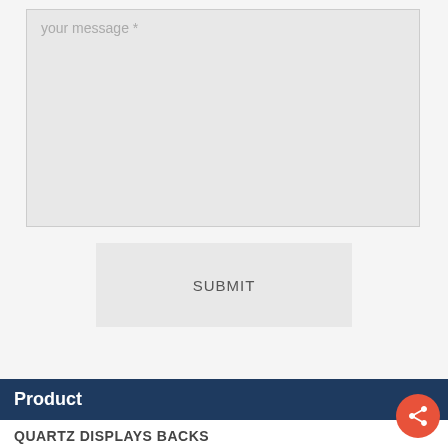your message *
SUBMIT
Product
QUARTZ DISPLAYS BACKS